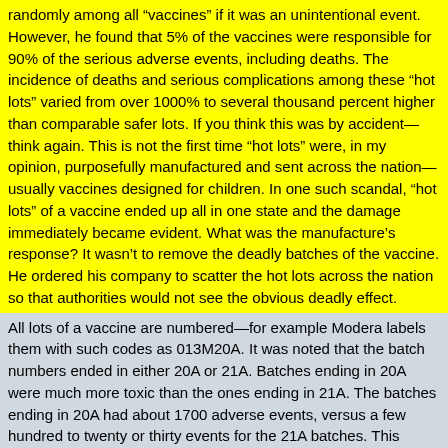randomly among all “vaccines” if it was an unintentional event. However, he found that 5% of the vaccines were responsible for 90% of the serious adverse events, including deaths. The incidence of deaths and serious complications among these “hot lots” varied from over 1000% to several thousand percent higher than comparable safer lots. If you think this was by accident—think again. This is not the first time “hot lots” were, in my opinion, purposefully manufactured and sent across the nation—usually vaccines designed for children. In one such scandal, “hot lots” of a vaccine ended up all in one state and the damage immediately became evident. What was the manufacture’s response? It wasn’t to remove the deadly batches of the vaccine. He ordered his company to scatter the hot lots across the nation so that authorities would not see the obvious deadly effect.
All lots of a vaccine are numbered—for example Modera labels them with such codes as 013M20A. It was noted that the batch numbers ended in either 20A or 21A. Batches ending in 20A were much more toxic than the ones ending in 21A. The batches ending in 20A had about 1700 adverse events, versus a few hundred to twenty or thirty events for the 21A batches. This example explains why some people had few or no adverse events after taking the vaccine while others are either killed or severely and permanently harmed. To see the researcher’s explanation, go to https://www.bitchute.com/video/6xIYPZBkydsu/ In my opinion these examples strongly suggest an intentional alteration of the production of the “vaccine” to include deadly batches.